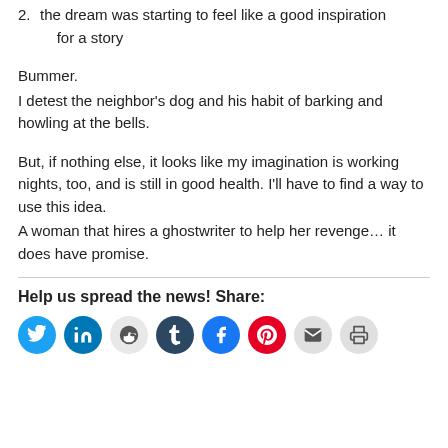2. the dream was starting to feel like a good inspiration for a story
Bummer.
I detest the neighbor’s dog and his habit of barking and howling at the bells.
But, if nothing else, it looks like my imagination is working nights, too, and is still in good health. I’ll have to find a way to use this idea.
A woman that hires a ghostwriter to help her revenge… it does have promise.
Help us spread the news! Share:
[Figure (infographic): Row of social media share icon buttons: Twitter (blue), LinkedIn (dark blue), Reddit (light gray), Tumblr (dark navy), Facebook (blue), Pinterest (red), Email (light gray), Print (light gray)]